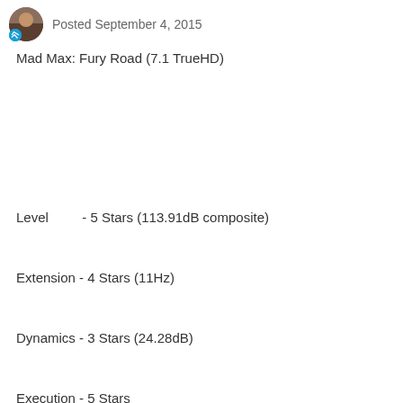Posted September 4, 2015
Mad Max: Fury Road (7.1 TrueHD)
Level        - 5 Stars (113.91dB composite)
Extension - 4 Stars (11Hz)
Dynamics - 3 Stars (24.28dB)
Execution - 5 Stars